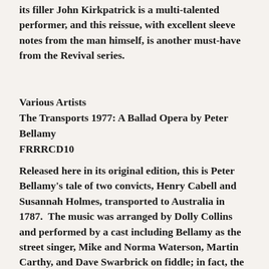its filler John Kirkpatrick is a multi-talented performer, and this reissue, with excellent sleeve notes from the man himself, is another must-have from the Revival series.
Various Artists
The Transports 1977: A Ballad Opera by Peter Bellamy
FRRRCD10
Released here in its original edition, this is Peter Bellamy's tale of two convicts, Henry Cabell and Susannah Holmes, transported to Australia in 1787.  The music was arranged by Dolly Collins and performed by a cast including Bellamy as the street singer, Mike and Norma Waterson, Martin Carthy, and Dave Swarbrick on fiddle; in fact, the cast list reads like a who's who of seventies English folk, showing Bellamy's knack for finding ideal collaborators. The superb story utilises all of his skills as a writer and a performer and was arguably Bellamy's finest and most fully successful achievement, and